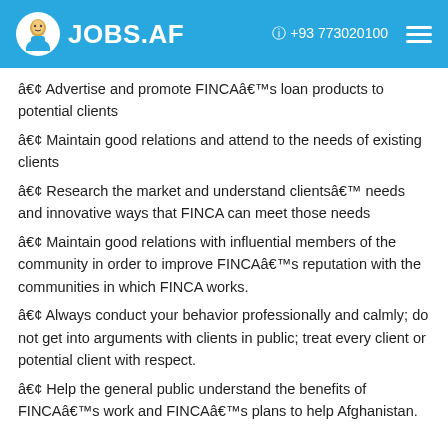JOBS.AF   +93 773020100
• Advertise and promote FINCA's loan products to potential clients
• Maintain good relations and attend to the needs of existing clients
• Research the market and understand clients' needs and innovative ways that FINCA can meet those needs
• Maintain good relations with influential members of the community in order to improve FINCA's reputation with the communities in which FINCA works.
• Always conduct your behavior professionally and calmly; do not get into arguments with clients in public; treat every client or potential client with respect.
• Help the general public understand the benefits of FINCA's work and FINCA's plans to help Afghanistan.